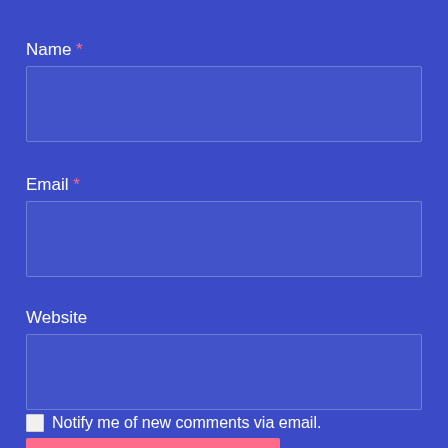Name *
Email *
Website
POST COMMENT
Notify me of new comments via email.